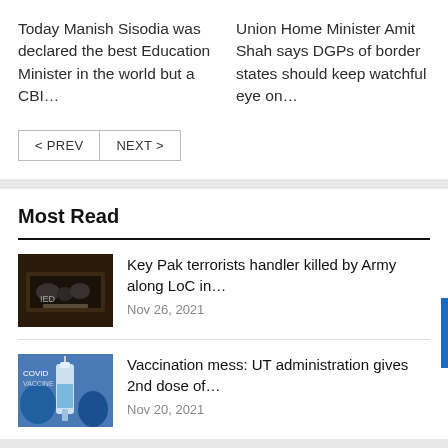Today Manish Sisodia was declared the best Education Minister in the world but a CBI…
Union Home Minister Amit Shah says DGPs of border states should keep watchful eye on…
< PREV  NEXT >
Most Read
[Figure (photo): Thumbnail image of IED/explosive device on a tray]
Key Pak terrorists handler killed by Army along LoC in…
Nov 26, 2021
[Figure (photo): Thumbnail image of a COVID-19 vaccine syringe]
Vaccination mess: UT administration gives 2nd dose of…
Nov 20, 2021